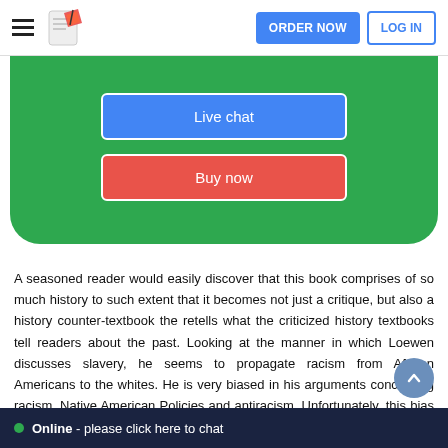ORDER NOW  LOG IN
[Figure (screenshot): Green rounded card with 'Live chat' blue button and 'Buy now' red button]
A seasoned reader would easily discover that this book comprises of so much history to such extent that it becomes not just a critique, but also a history counter-textbook the retells what the criticized history textbooks tell readers about the past. Looking at the manner in which Loewen discusses slavery, he seems to propagate racism from African Americans to the whites. He is very biased in his arguments concerning racism, Native American Policies and antiracism. Unfortunately, this bias prevents the book form achieving its overall quality and objectivity. In fact, Loewen seems to be pitting African Americans against their fellow whites b
Online - please click here to chat